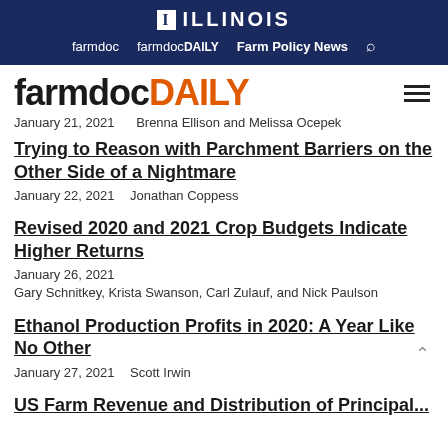I ILLINOIS | farmdoc  farmdocDAILY  Farm Policy News
farmdocDAILY
January 21, 2021    Brenna Ellison and Melissa Ocepek
Trying to Reason with Parchment Barriers on the Other Side of a Nightmare
January 22, 2021    Jonathan Coppess
Revised 2020 and 2021 Crop Budgets Indicate Higher Returns
January 26, 2021
Gary Schnitkey, Krista Swanson, Carl Zulauf, and Nick Paulson
Ethanol Production Profits in 2020: A Year Like No Other
January 27, 2021    Scott Irwin
US Farm Revenue and Distribution of Principal...